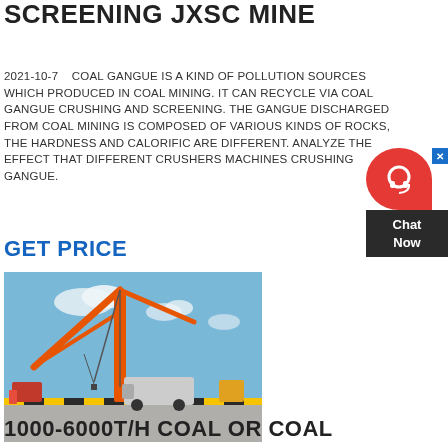SCREENING JXSC MINE
2021-10-7    COAL GANGUE IS A KIND OF POLLUTION SOURCES WHICH PRODUCED IN COAL MINING. IT CAN RECYCLE VIA COAL GANGUE CRUSHING AND SCREENING. THE GANGUE DISCHARGED FROM COAL MINING IS COMPOSED OF VARIOUS KINDS OF ROCKS, THE HARDNESS AND CALORIFIC ARE DIFFERENT. ANALYZE THE EFFECT THAT DIFFERENT CRUSHERS MACHINE CRUSHING GANGUE.
GET PRICE
[Figure (photo): Photo of a large orange crane/gantry structure at a port or construction site, with a truck and equipment below, under a blue sky with clouds.]
1000-6000T/H COAL OR COAL